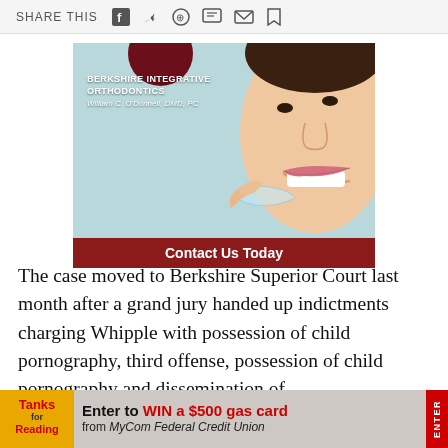SHARE THIS
[Figure (photo): Advertisement for Berkshire Integrative Orthodontics by William C. O'Donnell, DMD, PC. Shows a smiling woman holding a clear dental aligner. Red banner at bottom reads 'Contact Us Today'.]
The case moved to Berkshire Superior Court last month after a grand jury handed up indictments charging Whipple with possession of child pornography, third offense, possession of child pornography and dissemination of visual ... ty or
[Figure (infographic): Bottom banner advertisement: Tanks for Reading logo on left. Text reads 'Enter to WIN a $500 gas card from MyCom Federal Credit Union'. Red ENTER tab on right side.]